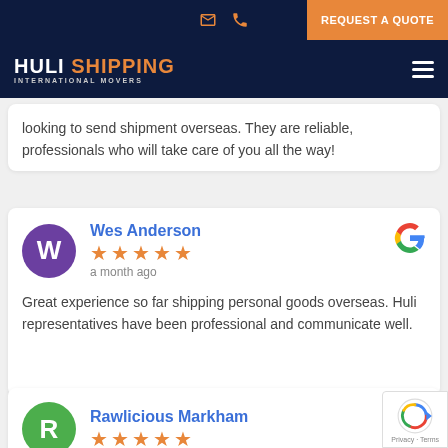REQUEST A QUOTE
[Figure (logo): Huli Shipping International Movers logo on dark navy background]
looking to send shipment overseas. They are reliable, professionals who will take care of you all the way!
Wes Anderson — a month ago — 5 stars — Great experience so far shipping personal goods overseas. Huli representatives have been professional and communicate well.
Rawlicious Markham — 5 stars